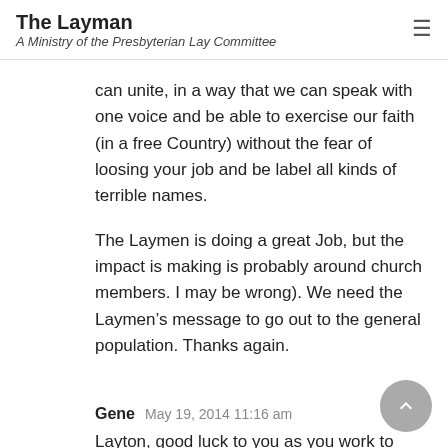The Layman
A Ministry of the Presbyterian Lay Committee
can unite, in a way that we can speak with one voice and be able to exercise our faith (in a free Country) without the fear of loosing your job and be label all kinds of terrible names.
The Laymen is doing a great Job, but the impact is making is probably around church members. I may be wrong). We need the Laymen’s message to go out to the general population. Thanks again.
Gene   May 19, 2014 11:16 am
Layton, good luck to you as you work to serve God and follow your call to serve God and the